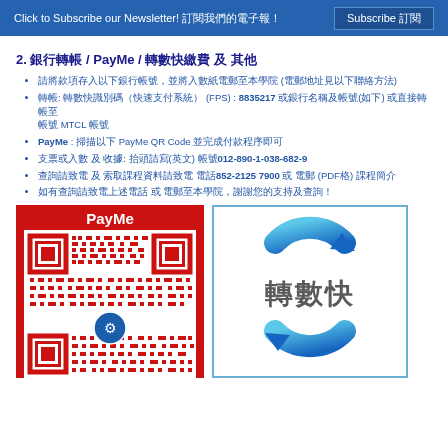Click to Subscribe our Newsletter! 訂閱我們的電子報！  Subscribe 訂閱
2. 銀行轉帳 / PayMe / 轉數快繳費 及 其他
請將款項存入以下銀行帳號，並將入數紙電郵至本學院 (電郵地址見以下聯絡方法)
轉帳: 轉數快識別碼（快速支付系統） (FPS) : 8835217 或銀行名稱及帳號(如下) 或直接轉帳至 MTCL 帳號
PayMe : 掃描以下 PayMe QR Code 並完成付款程序即可
支票或入數 及 收據: 抬頭請寫(英文) 帳號012-890-1-038-682-9
查詢請致電 及 索取課程資料請致電 電話852-2125 7900 或 電郵 (PDF格) 課程簡介
如有查詢請致電上述電話 或 電郵至本學院，謝謝您的支持及查詢！
[Figure (other): PayMe QR code image on red background with PayMe label]
[Figure (logo): 轉數快 (FPS) logo with blue circular arrows]